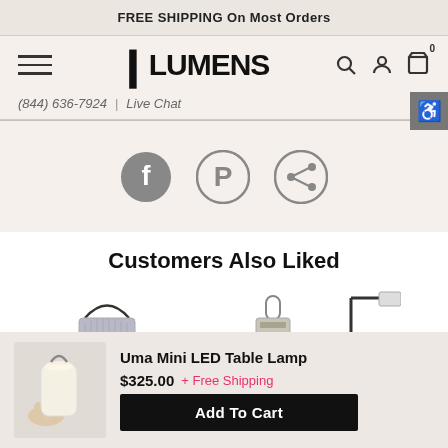FREE SHIPPING On Most Orders
[Figure (logo): Lumens logo with hamburger menu and nav icons (search, account, cart)]
(844) 636-7924  |  Live Chat
[Figure (infographic): Social sharing icons: Facebook, Pinterest, Share]
Customers Also Liked
[Figure (photo): Product thumbnails row showing three lamps partially visible]
Uma Mini LED Table Lamp
$325.00 + Free Shipping
Add To Cart